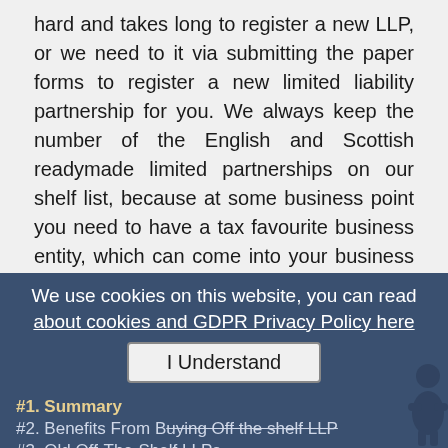hard and takes long to register a new LLP, or we need to it via submitting the paper forms to register a new limited liability partnership for you. We always keep the number of the English and Scottish readymade limited partnerships on our shelf list, because at some business point you need to have a tax favourite business entity, which can come into your business scheme with the back date.

If you've any enquiry then please get in touch with us! Mail: info@coddan.co.uk. We aim to reply to all emails within 24 hours. If you are rushing please feel free to call us between 9.30am-6.00pm Monday to Friday by telephoning + 44 (0) 207.935.5171 or (0) 330.808.0089 (national rates) and chat further.
We use cookies on this website, you can read about cookies and GDPR Privacy Policy here
I Understand
#1. Summary
#2. Benefits From Buying Off the shelf LLP
#3. Old Off-The-Shelf LLPs